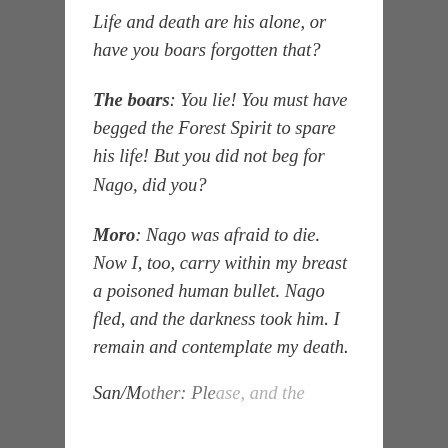Life and death are his alone, or have you boars forgotten that?
The boars: You lie! You must have begged the Forest Spirit to spare his life! But you did not beg for Nago, did you?
Moro: Nago was afraid to die. Now I, too, carry within my breast a poisoned human bullet. Nago fled, and the darkness took him. I remain and contemplate my death.
San/Mother: Please, and the...